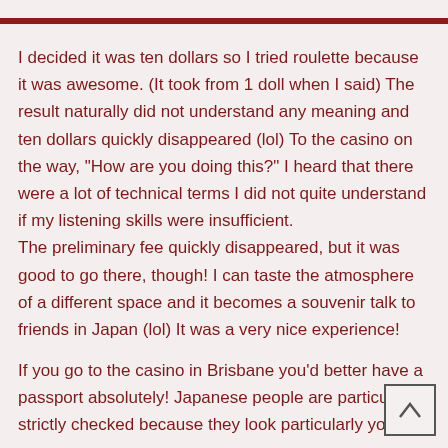I decided it was ten dollars so I tried roulette because it was awesome. (It took from 1 doll when I said) The result naturally did not understand any meaning and ten dollars quickly disappeared (lol) To the casino on the way, “How are you doing this?” I heard that there were a lot of technical terms I did not quite understand if my listening skills were insufficient.
The preliminary fee quickly disappeared, but it was good to go there, though! I can taste the atmosphere of a different space and it becomes a souvenir talk to friends in Japan (lol) It was a very nice experience!
If you go to the casino in Brisbane you’d better have a passport absolutely! Japanese people are particularly strictly checked because they look particularly young.